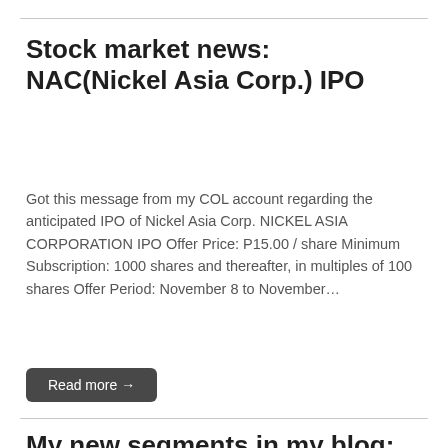Stock market news: NAC(Nickel Asia Corp.) IPO
Got this message from my COL account regarding the anticipated IPO of Nickel Asia Corp. NICKEL ASIA CORPORATION IPO Offer Price: P15.00 / share Minimum Subscription: 1000 shares and thereafter, in multiples of 100 shares Offer Period: November 8 to November…
Read more →
My new segments in my blog: The online stockbrokers that I use